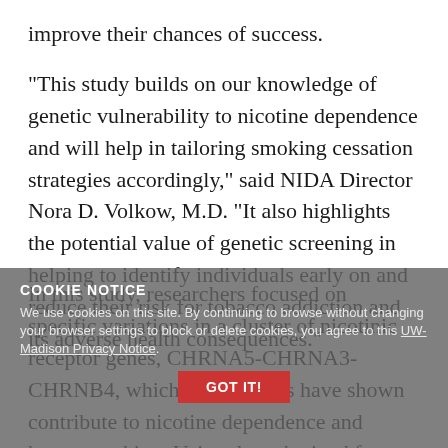improve their chances of success.
“This study builds on our knowledge of genetic vulnerability to nicotine dependence and will help in tailoring smoking cessation strategies accordingly,” said NIDA Director Nora D. Volkow, M.D. “It also highlights the potential value of genetic screening in helping to identify individuals early on and reduce their risk for tobacco addiction and its adverse health consequences.”
In this study, researchers focused on specific variations in a cluster of nicotinic receptor genes, CHRNA5-CHRNA3-CHRNB4, which prior studies have shown contribute to nicotine dependence and heavy smoking. Using data obtained from two studies — a survey and a clinical trial on smoking cessation conducted at the
COOKIE NOTICE
We use cookies on this site. By continuing to browse without changing your browser settings to block or delete cookies, you agree to this UW-Madison Privacy Notice.
GOT IT!